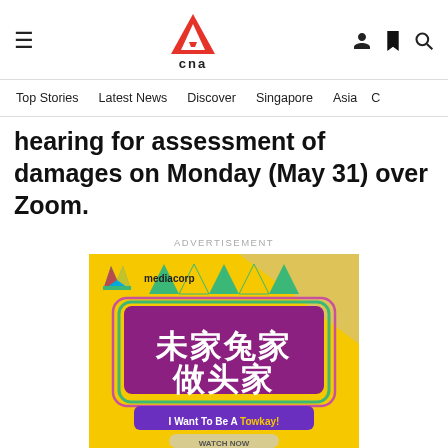CNA — Navigation header with hamburger menu, CNA logo, user icon, bookmark icon, search icon
Top Stories | Latest News | Discover | Singapore | Asia | C…
hearing for assessment of damages on Monday (May 31) over Zoom.
ADVERTISEMENT
[Figure (photo): Mediacorp advertisement banner for 'I Want To Be A Towkay!' (未家兔家做头家) TV show, featuring Chinese characters on a colourful fairground background with a 'WATCH NOW' button.]